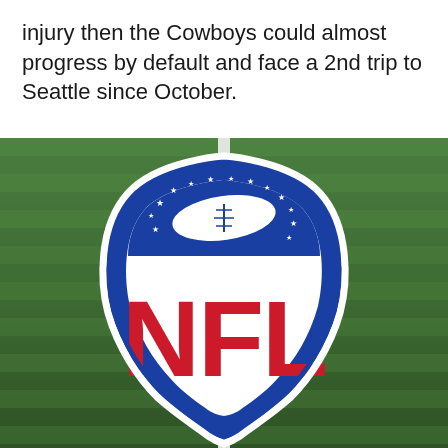injury then the Cowboys could almost progress by default and face a 2nd trip to Seattle since October.
[Figure (photo): Photograph of the NFL shield logo painted on a green grass football field, with a white yard line running through the center. The logo shows the blue shield outline, white football with stars, and red NFL letters.]